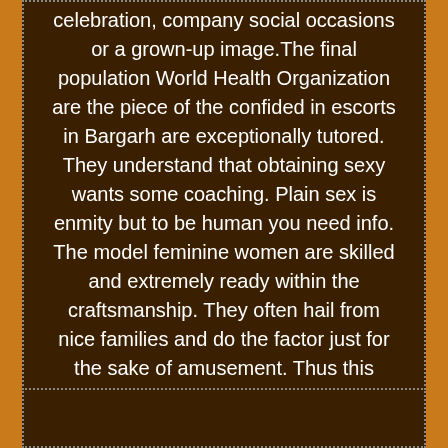celebration, company social occasions or a grown-up image.The final population World Health Organization are the piece of the confided in escorts in Bargarh are exceptionally tutored. They understand that obtaining sexy wants some coaching. Plain sex is enmity but to be human you need info. The model feminine women are skilled and extremely ready within the craftsmanship. They often hail from nice families and do the factor just for the sake of amusement. Thus this could happen that the young woman whom you alluringly viewed at some store at nighttime lands up to your bed at AN indistinguishable night from a chunk of some escort services in Bargarh.